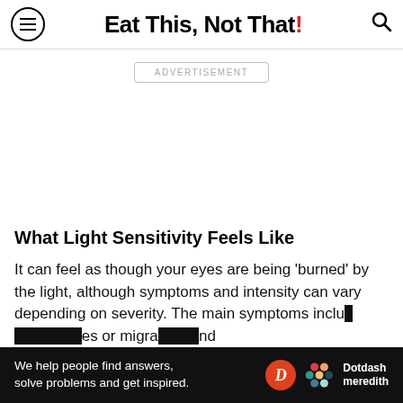Eat This, Not That!
ADVERTISEMENT
What Light Sensitivity Feels Like
It can feel as though your eyes are being 'burned' by the light, although symptoms and intensity can vary depending on severity. The main symptoms include headaches or migraines and
We help people find answers, solve problems and get inspired. Dotdash meredith